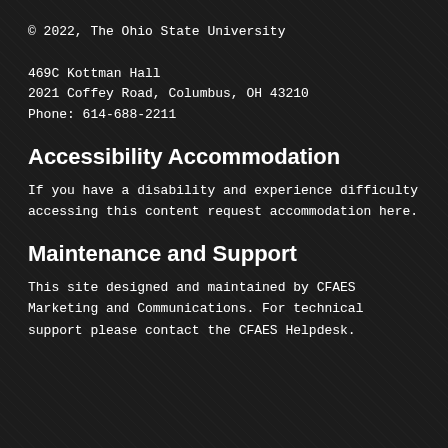© 2022, The Ohio State University
469C Kottman Hall
2021 Coffey Road, Columbus, OH 43210
Phone: 614-688-2211
Accessibility Accommodation
If you have a disability and experience difficulty accessing this content request accommodation here.
Maintenance and Support
This site designed and maintained by CFAES Marketing and Communications. For technical support please contact the CFAES Helpdesk.